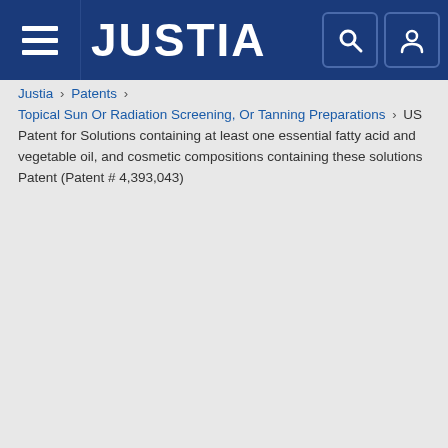JUSTIA
Justia › Patents › Topical Sun Or Radiation Screening, Or Tanning Preparations › US Patent for Solutions containing at least one essential fatty acid and vegetable oil, and cosmetic compositions containing these solutions Patent (Patent # 4,393,043)